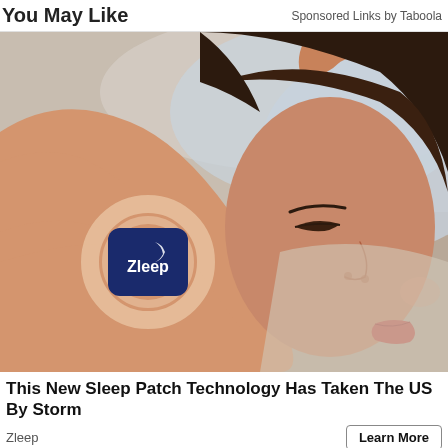You May Like    Sponsored Links by Taboola
[Figure (photo): A woman sleeping in bed with her arm visible, with a Zleep sleep patch product shown on her upper arm, highlighted by a glowing circle. The patch is dark blue with a crescent moon and the text 'Zleep'.]
This New Sleep Patch Technology Has Taken The US By Storm
Zleep
Learn More